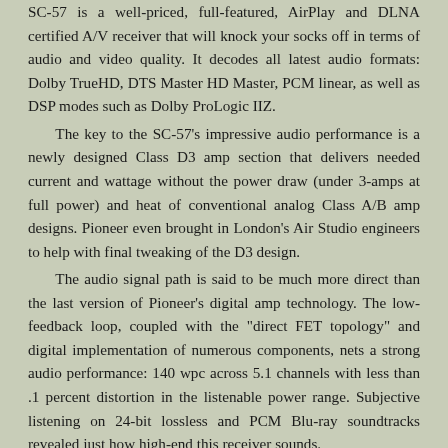SC-57 is a well-priced, full-featured, AirPlay and DLNA certified A/V receiver that will knock your socks off in terms of audio and video quality. It decodes all latest audio formats: Dolby TrueHD, DTS Master HD Master, PCM linear, as well as DSP modes such as Dolby ProLogic IIZ.

The key to the SC-57’s impressive audio performance is a newly designed Class D3 amp section that delivers needed current and wattage without the power draw (under 3-amps at full power) and heat of conventional analog Class A/B amp designs. Pioneer even brought in London’s Air Studio engineers to help with final tweaking of the D3 design.

The audio signal path is said to be much more direct than the last version of Pioneer’s digital amp technology. The low-feedback loop, coupled with the “direct FET topology” and digital implementation of numerous components, nets a strong audio performance: 140 wpc across 5.1 channels with less than .1 percent distortion in the listenable power range. Subjective listening on 24-bit lossless and PCM Blu-ray soundtracks revealed just how high-end this receiver sounds.

The Pioneer SC-57 contains a lot of extra functional goodies — including the iControlAV application, which allows remote control of key functions of the SC-57 through the iPhone, iPod Touch or iPad. The AV-Navigator software,